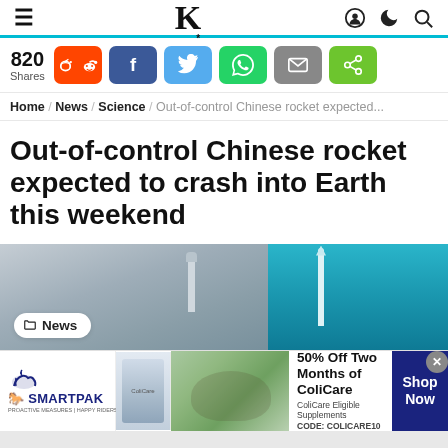K (Knewz logo)
820 Shares — social share buttons: Reddit, Facebook, Twitter, WhatsApp, Email, Share
Home / News / Science / Out-of-control Chinese rocket expected...
Out-of-control Chinese rocket expected to crash into Earth this weekend
[Figure (photo): Split image: left side shows a rocket on a launch pad in hazy gray sky; right side shows a rocket in flight against blue sky. A 'News' tag badge overlays the bottom-left.]
[Figure (infographic): SmartPak advertisement banner: SmartPak logo with horse icon, product image, horse and rider photo, text '50% Off Two Months of ColiCare, ColiCare Eligible Supplements, CODE: COLICARE10', and a dark blue 'Shop Now' button.]